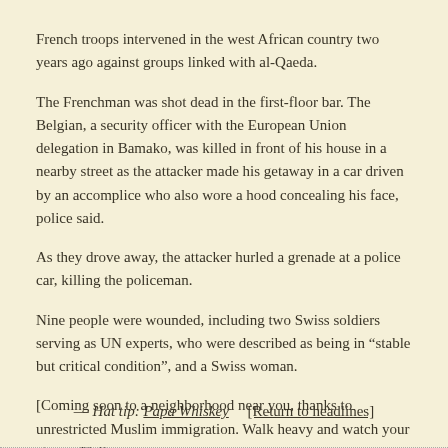French troops intervened in the west African country two years ago against groups linked with al-Qaeda.
The Frenchman was shot dead in the first-floor bar. The Belgian, a security officer with the European Union delegation in Bamako, was killed in front of his house in a nearby street as the attacker made his getaway in a car driven by an accomplice who also wore a hood concealing his face, police said.
As they drove away, the attacker hurled a grenade at a police car, killing the policeman.
Nine people were wounded, including two Swiss soldiers serving as UN experts, who were described as being in “stable but critical condition”, and a Swiss woman.
[Coming soon to a neighborhood near you, thanks to unrestricted Muslim immigration. Walk heavy and watch your six. — PW]
— Hat tip: Papa Whiskey    [Return to headlines]